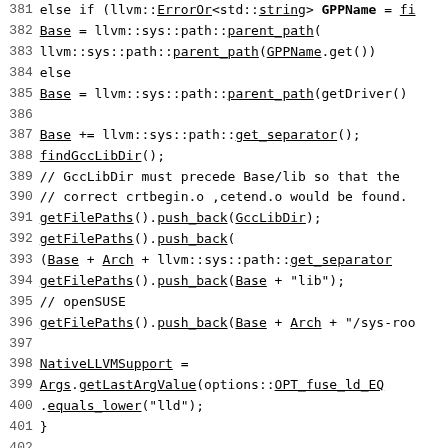[Figure (screenshot): Source code listing (C++) with line numbers 381-411, showing LLVM toolchain MinGW driver code including path manipulation, getFilePaths calls, NativeLLVMSupport assignment, IsIntegratedAssemblerDefault function declaration, getTool function with switch statement on Action class.]